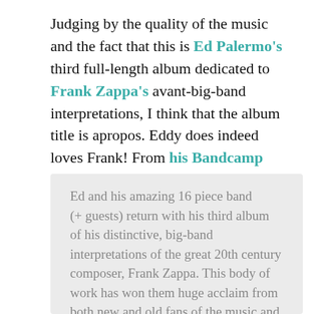Judging by the quality of the music and the fact that this is Ed Palermo's third full-length album dedicated to Frank Zappa's avant-big-band interpretations, I think that the album title is apropos.  Eddy does indeed loves Frank!  From his Bandcamp site:
Ed and his amazing 16 piece band (+ guests) return with his third album of his distinctive, big-band interpretations of the great 20th century composer, Frank Zappa. This body of work has won them huge acclaim from both new and old fans of the music and they even appeared on NPR's Weekend Edition for a short feature which was heard by millions of listeners in 2006. For those not already familiar with Ed's